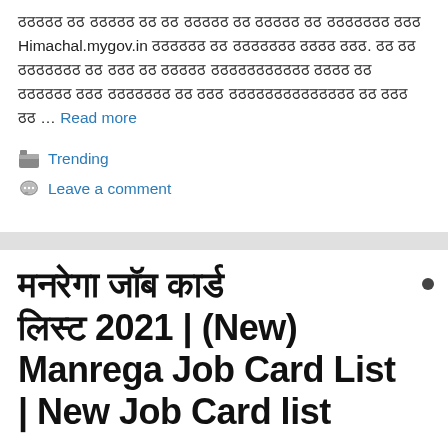... Himachal.mygov.in ... Read more
Trending
Leave a comment
मनरेगा जॉब कार्ड लिस्ट 2021 | (New) Manrega Job Card List | New Job Card list